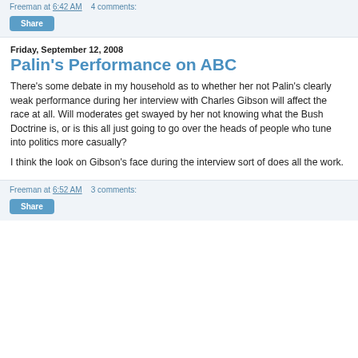Freeman at 6:42 AM   4 comments:
Share
Friday, September 12, 2008
Palin's Performance on ABC
There's some debate in my household as to whether her not Palin's clearly weak performance during her interview with Charles Gibson will affect the race at all. Will moderates get swayed by her not knowing what the Bush Doctrine is, or is this all just going to go over the heads of people who tune into politics more casually?
I think the look on Gibson's face during the interview sort of does all the work.
Freeman at 6:52 AM   3 comments:
Share